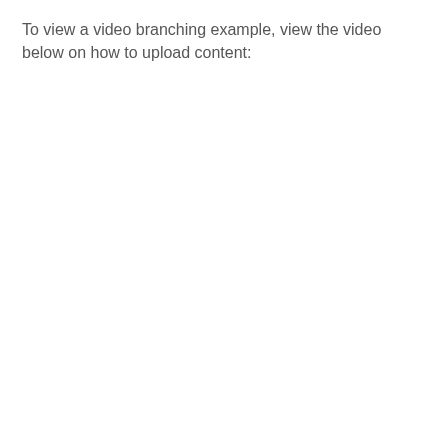To view a video branching example, view the video below on how to upload content: